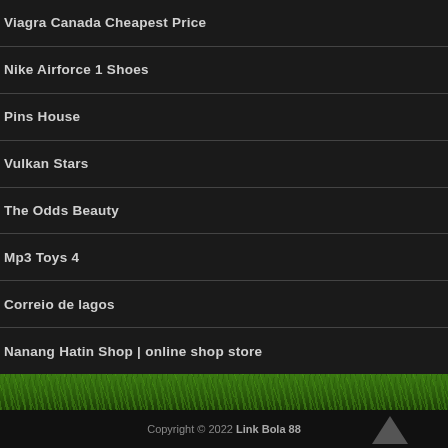Viagra Canada Cheapest Price
Nike Airforce 1 Shoes
Pins House
Vulkan Stars
The Odds Beauty
Mp3 Toys 4
Correio de lagos
Nanang Hatin Shop | online shop store
[Figure (photo): Green grass texture banner]
Copyright © 2022 Link Bola 88